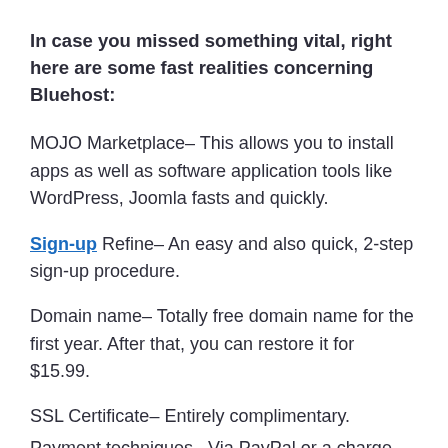In case you missed something vital, right here are some fast realities concerning Bluehost:
MOJO Marketplace– This allows you to install apps as well as software application tools like WordPress, Joomla fasts and quickly.
Sign-up Refine– An easy and also quick, 2-step sign-up procedure.
Domain name– Totally free domain name for the first year. After that, you can restore it for $15.99.
SSL Certificate– Entirely complimentary.
Payment techniques– Via PayPal or a charge card.
Hidden terms? You will not get any kind of reimbursement on your domain. Plus, the renewal prices for both organizing as well as